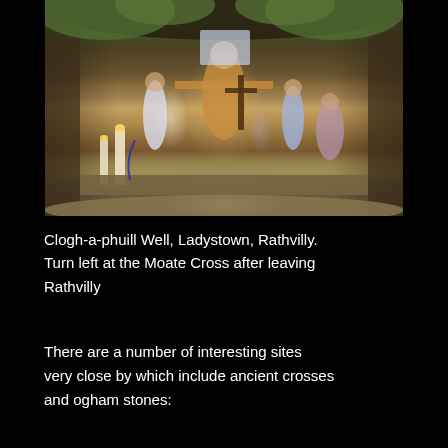[Figure (photo): A stone grotto or holy well shrine containing multiple religious statues including a central figure of Jesus Christ with arms outstretched, Virgin Mary figurines, candles, rosary beads, and other devotional objects set into rocky surroundings with vegetation above.]
Clogh-a-phuill Well, Ladystown, Rathvilly. Turn left at the Moate Cross after leaving Rathvilly
There are a number of interesting sites very close by which include ancient crosses and ogham stones: